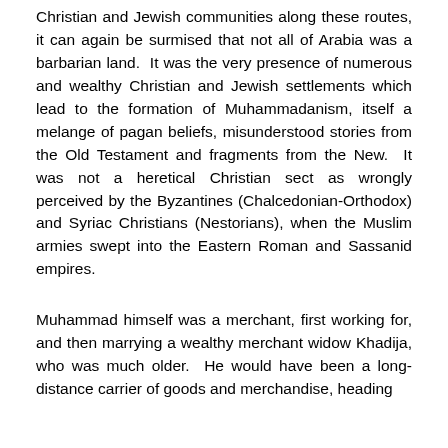Christian and Jewish communities along these routes, it can again be surmised that not all of Arabia was a barbarian land.  It was the very presence of numerous and wealthy Christian and Jewish settlements which lead to the formation of Muhammadanism, itself a melange of pagan beliefs, misunderstood stories from the Old Testament and fragments from the New.  It was not a heretical Christian sect as wrongly perceived by the Byzantines (Chalcedonian-Orthodox) and Syriac Christians (Nestorians), when the Muslim armies swept into the Eastern Roman and Sassanid empires.
Muhammad himself was a merchant, first working for, and then marrying a wealthy merchant widow Khadija, who was much older.  He would have been a long-distance carrier of goods and merchandise, heading